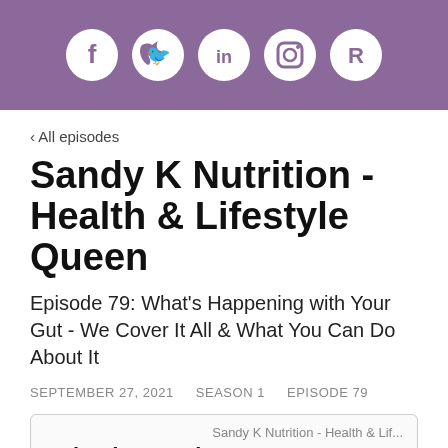[Figure (other): Purple header bar with five white social media icons: Facebook (f), Twitter (bird), LinkedIn (in), Instagram (camera), and Repod (R)]
‹ All episodes
Sandy K Nutrition - Health & Lifestyle Queen
Episode 79: What's Happening with Your Gut - We Cover It All & What You Can Do About It
SEPTEMBER 27, 2021    SEASON 1    EPISODE 79
[Figure (screenshot): Podcast player embed box showing 'Sandy K Nutrition - Health & Lif...' and 'Episode 79: What...' text]